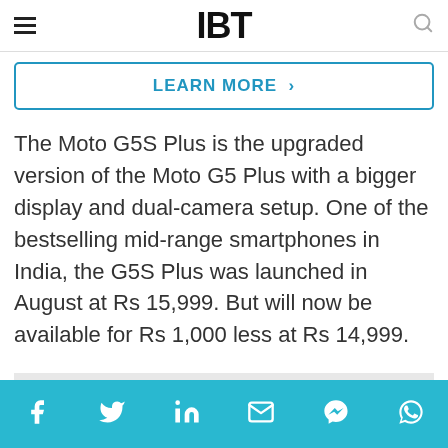IBT
[Figure (other): LEARN MORE button with right chevron arrow inside a blue-bordered rounded rectangle]
The Moto G5S Plus is the upgraded version of the Moto G5 Plus with a bigger display and dual-camera setup. One of the bestselling mid-range smartphones in India, the G5S Plus was launched in August at Rs 15,999. But will now be available for Rs 1,000 less at Rs 14,999.
[Figure (other): Gray advertisement banner placeholder bar]
The Moto G5S Plus will be available at the
Social sharing bar: Facebook, Twitter, LinkedIn, Email, Messenger, WhatsApp